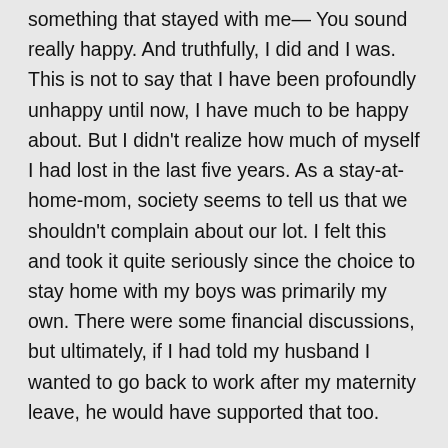While chatting with my sister yesterday she said something that stayed with me— You sound really happy. And truthfully, I did and I was. This is not to say that I have been profoundly unhappy until now, I have much to be happy about. But I didn't realize how much of myself I had lost in the last five years. As a stay-at-home-mom, society seems to tell us that we shouldn't complain about our lot. I felt this and took it quite seriously since the choice to stay home with my boys was primarily my own. There were some financial discussions, but ultimately, if I had told my husband I wanted to go back to work after my maternity leave, he would have supported that too.